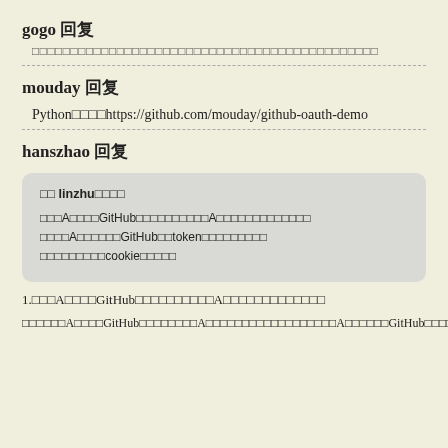gogo 回复
□□□□□□□□□□□□□□□□□□□□□□□□□□□□□□□□□□□□□□□□□□□□□
mouday 回复
Python□□□□https://github.com/mouday/github-oauth-demo
hanszhao 回复
□□ linzhu□□□□
□□□A□□□□GitHub□□□□□□□□□□A□□□□□□□□□□□□□
□□□□A□□□□□□GitHub□□token□□□□□□□□□
□□□□□□□□□cookie□□□□□
1.□□□A□□□□GitHub□□□□□□□□□□A□□□□□□□□□□□□□
□□□□□□A□□□□GitHub□□□□□□□□A□□□□□□□□□□□□□□□□□□A□□□□□□GitHub□□□□□□□□□□□□□□□□□□□□A□□□□□□□□□□□□□□□□□□□□□□□□□□□□□□□□□GitHub□□□□□□□□□□□□□